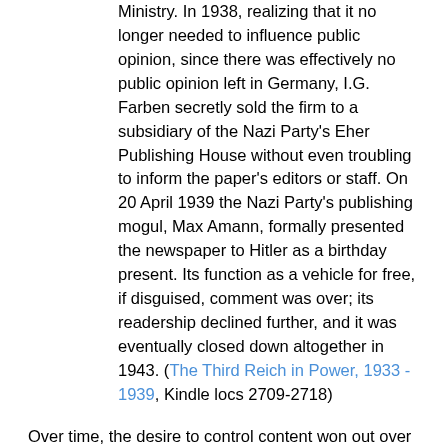Ministry. In 1938, realizing that it no longer needed to influence public opinion, since there was effectively no public opinion left in Germany, I.G. Farben secretly sold the firm to a subsidiary of the Nazi Party's Eher Publishing House without even troubling to inform the paper's editors or staff. On 20 April 1939 the Nazi Party's publishing mogul, Max Amann, formally presented the newspaper to Hitler as a birthday present. Its function as a vehicle for free, if disguised, comment was over; its readership declined further, and it was eventually closed down altogether in 1943. (The Third Reich in Power, 1933 - 1939, Kindle locs 2709-2718)
Over time, the desire to control content won out over the desire to encourage any sort of independence or originality. The propaganda ministry issued ever more detailed instructions to newspapers about what to publish and how, just as in the Spanish case, probably contributing to an overall decline in press readership and the migration of the reading public towards less boring forms of media, such as